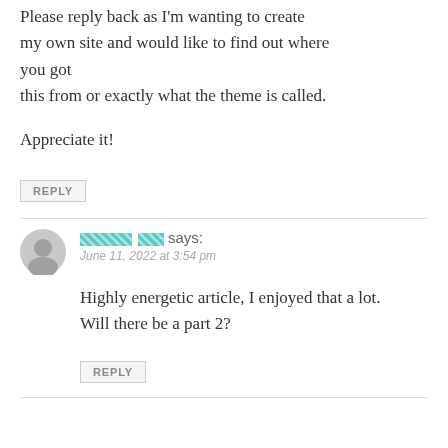Please reply back as I'm wanting to create my own site and would like to find out where you got this from or exactly what the theme is called.

Appreciate it!
REPLY
[redacted] says:
June 11, 2022 at 3:54 pm
Highly energetic article, I enjoyed that a lot. Will there be a part 2?
REPLY